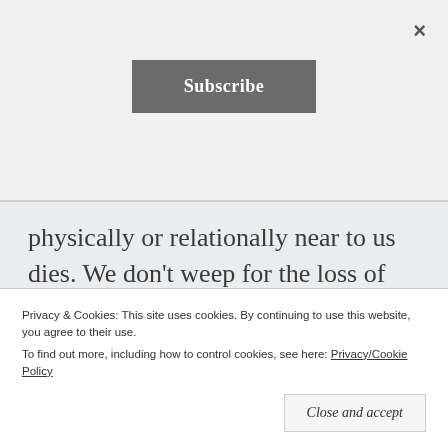×
Subscribe
physically or relationally near to us dies. We don't weep for the loss of touch or hugs, the sound of a voice, the memory of meals gathered around the table.
But we lament nonetheless. We ache. The
Privacy & Cookies: This site uses cookies. By continuing to use this website, you agree to their use.
To find out more, including how to control cookies, see here: Privacy/Cookie Policy
Close and accept
he'd commonly used to practice the Sabbath—